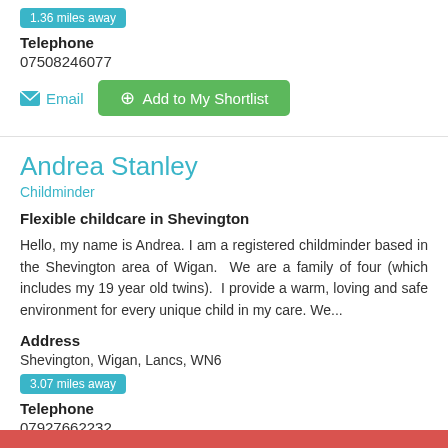1.36 miles away
Telephone
07508246077
[Figure (other): Email link button and Add to My Shortlist green button]
Andrea Stanley
Childminder
Flexible childcare in Shevington
Hello, my name is Andrea. I am a registered childminder based in the Shevington area of Wigan.  We are a family of four (which includes my 19 year old twins).  I provide a warm, loving and safe environment for every unique child in my care. We...
Address
Shevington, Wigan, Lancs, WN6
3.07 miles away
Telephone
07927662232
01257433339